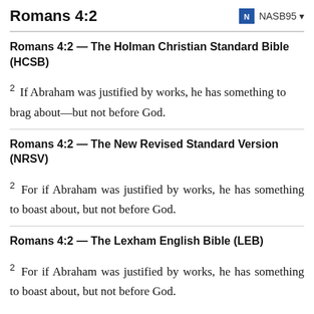Romans 4:2   NASB95
Romans 4:2 — The Holman Christian Standard Bible (HCSB)
2 If Abraham was justified by works, he has something to brag about—but not before God.
Romans 4:2 — The New Revised Standard Version (NRSV)
2 For if Abraham was justified by works, he has something to boast about, but not before God.
Romans 4:2 — The Lexham English Bible (LEB)
2 For if Abraham was justified by works, he has something to boast about, but not before God.